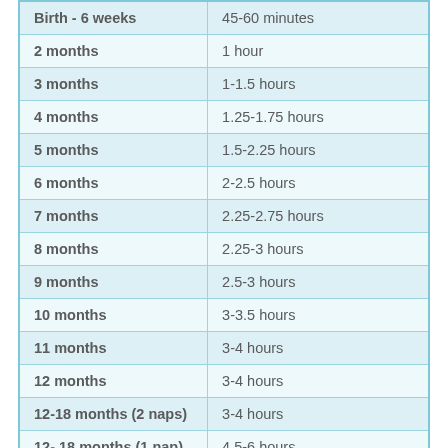| Age | Wake Window |
| --- | --- |
| Birth - 6 weeks | 45-60 minutes |
| 2 months | 1 hour |
| 3 months | 1-1.5 hours |
| 4 months | 1.25-1.75 hours |
| 5 months | 1.5-2.25 hours |
| 6 months | 2-2.5 hours |
| 7 months | 2.25-2.75 hours |
| 8 months | 2.25-3 hours |
| 9 months | 2.5-3 hours |
| 10 months | 3-3.5 hours |
| 11 months | 3-4 hours |
| 12 months | 3-4 hours |
| 12-18 months (2 naps) | 3-4 hours |
| 12- 18 months (1 nap) | 4.5-6 hours |
| 18-24 months (1 nap) | 5-6 hours |